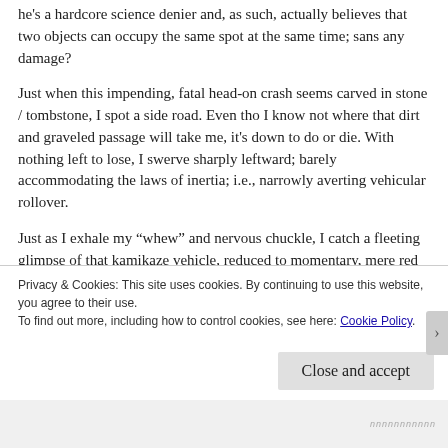he's a hardcore science denier and, as such, actually believes that two objects can occupy the same spot at the same time; sans any damage?
Just when this impending, fatal head-on crash seems carved in stone / tombstone, I spot a side road. Even tho I know not where that dirt and graveled passage will take me, it's down to do or die. With nothing left to lose, I swerve sharply leftward; barely accommodating the laws of inertia; i.e., narrowly averting vehicular rollover.
Just as I exhale my “whew” and nervous chuckle, I catch a fleeting glimpse of that kamikaze vehicle, reduced to momentary, mere red blur, in my rearview mirror. Another “whew”. for indeed. I’ve totally cheated certain
Privacy & Cookies: This site uses cookies. By continuing to use this website, you agree to their use.
To find out more, including how to control cookies, see here: Cookie Policy
Close and accept
nnnnnnnnnnn